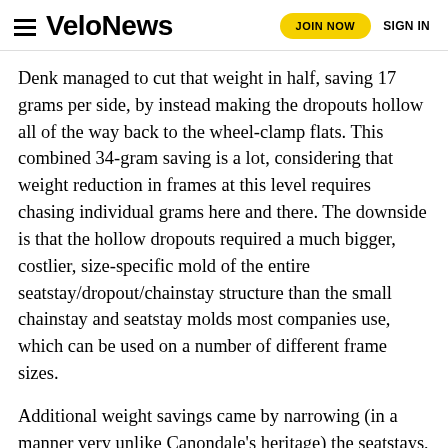VeloNews  JOIN NOW  SIGN IN
Denk managed to cut that weight in half, saving 17 grams per side, by instead making the dropouts hollow all of the way back to the wheel-clamp flats. This combined 34-gram saving is a lot, considering that weight reduction in frames at this level requires chasing individual grams here and there. The downside is that the hollow dropouts required a much bigger, costlier, size-specific mold of the entire seatstay/dropout/chainstay structure than the small chainstay and seatstay molds most companies use, which can be used on a number of different frame sizes.
Additional weight savings came by narrowing (in a manner very unlike Canondale's heritage) the seatstays, seat tube, top tube midsection, and steerer and head tube base (the tapered steering tube is now 1-1/4-inch, rather than 1-1/2-inch, tapering to 1-1/8-inch).